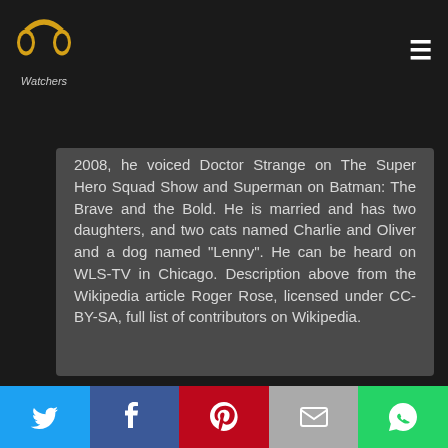PP Watchers logo and hamburger menu
2008, he voiced Doctor Strange on The Super Hero Squad Show and Superman on Batman: The Brave and the Bold. He is married and has two daughters, and two cats named Charlie and Oliver and a dog named "Lenny". He can be heard on WLS-TV in Chicago. Description above from the Wikipedia article Roger Rose, licensed under CC-BY-SA, full list of contributors on Wikipedia.
Social share buttons: Twitter, Facebook, Pinterest, Email, WhatsApp